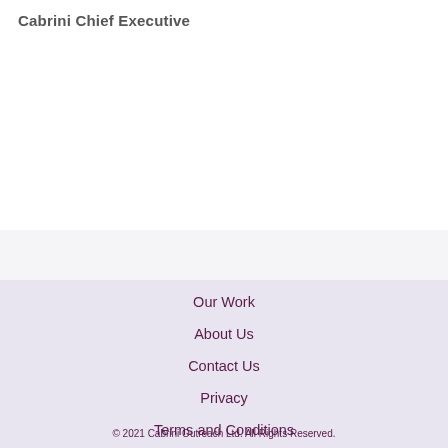Cabrini Chief Executive
Our Work
About Us
Contact Us
Privacy
Terms and Conditions
Donate
© 2021 Cabrini Outreach Ltd. All Rights Reserved.